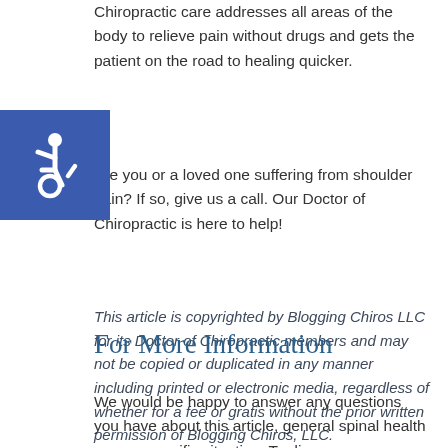Chiropractic care addresses all areas of the body to relieve pain without drugs and gets the patient on the road to healing quicker.
Are you or a loved one suffering from shoulder pain? If so, give us a call. Our Doctor of Chiropractic is here to help!
This article is copyrighted by Blogging Chiros LLC for its Doctor of Chiropractic members and may not be copied or duplicated in any manner including printed or electronic media, regardless of whether for a fee or gratis without the prior written permission of Blogging Chiros, LLC.
For More Information
We would be happy to answer any questions you have about this article, general spinal health or your specific situation. To discuss your symptoms and concerns call (406) 628-9333.